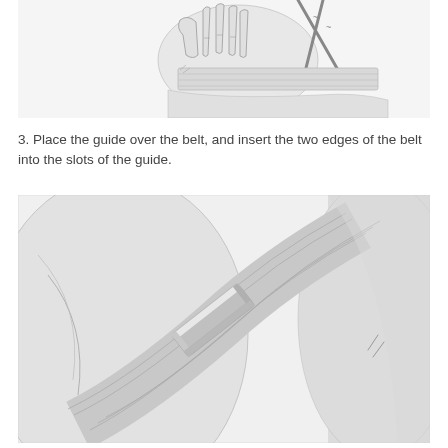[Figure (illustration): Top portion of an illustration showing a hand holding or manipulating a belt/guide component, with line-drawing style on white background.]
3. Place the guide over the belt, and insert the two edges of the belt into the slots of the guide.
[Figure (illustration): Illustration showing a belt guide placed over a seatbelt, with the two edges of the belt inserted into the slots of the guide. The guide is a rectangular band, and the belt runs diagonally through it. Line-drawing style with shading.]